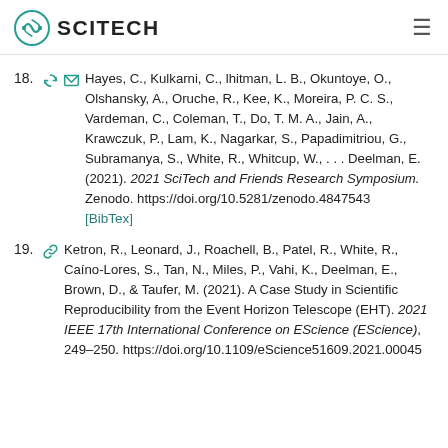SCITECH
18. Hayes, C., Kulkarni, C., Lhitman, L. B., Okuntoye, O., Olshansky, A., Oruche, R., Kee, K., Moreira, P. C. S., Vardeman, C., Coleman, T., Do, T. M. A., Jain, A., Krawczuk, P., Lam, K., Nagarkar, S., Papadimitriou, G., Subramanya, S., White, R., Whitcup, W., . . . Deelman, E. (2021). 2021 SciTech and Friends Research Symposium. Zenodo. https://doi.org/10.5281/zenodo.4847543 [BibTex]
19. Ketron, R., Leonard, J., Roachell, B., Patel, R., White, R., Caíno-Lores, S., Tan, N., Miles, P., Vahi, K., Deelman, E., Brown, D., & Taufer, M. (2021). A Case Study in Scientific Reproducibility from the Event Horizon Telescope (EHT). 2021 IEEE 17th International Conference on EScience (EScience), 249–250. https://doi.org/10.1109/eScience51609.2021.00045